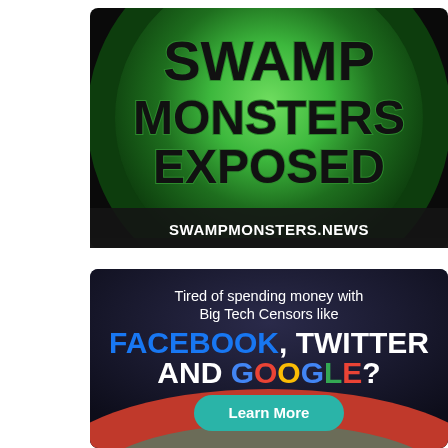[Figure (logo): Swamp Monsters Exposed logo: circular green glowing badge with bold black text reading SWAMP MONSTERS EXPOSED and URL SWAMPMONSTERS.NEWS at bottom]
[Figure (infographic): Dark advertisement: 'Tired of spending money with Big Tech Censors like FACEBOOK, TWITTER AND GOOGLE?' with colorful brand names and a teal Learn More button, red wave at bottom]